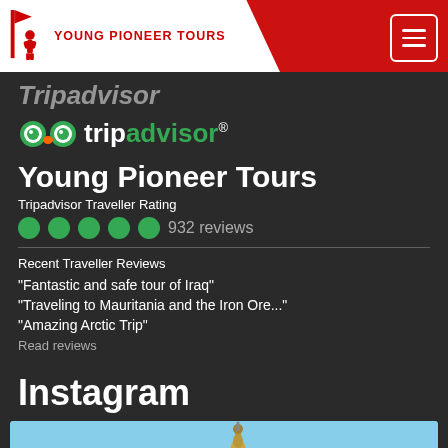YOUNG PIONEER TOURS
Tripadvisor
[Figure (logo): TripAdvisor owl logo with green circular eyes and the text 'tripadvisor®' in white and green]
Young Pioneer Tours
Tripadvisor Traveller Rating
●●●●● 932 reviews
Recent Traveller Reviews
“Fantastic and safe tour of Iraq”
“Traveling to Mauritania and the Iron Ore...”
“Amazing Arctic Trip”
Read reviews
Instagram
[Figure (photo): Instagram photo showing a blue sky with a minaret or tower structure visible]